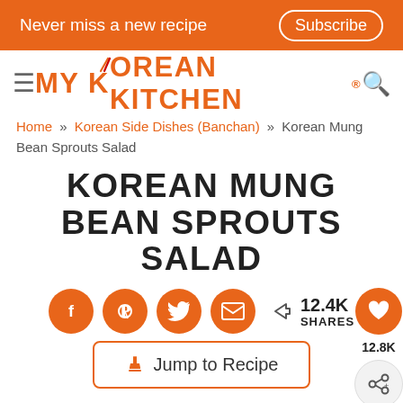Never miss a new recipe   Subscribe
[Figure (logo): MY KOREAN KITCHEN logo with chopsticks over the O in KOREAN]
Home » Korean Side Dishes (Banchan) » Korean Mung Bean Sprouts Salad
KOREAN MUNG BEAN SPROUTS SALAD
[Figure (infographic): Social share buttons (Facebook, Pinterest, Twitter, Email) and share count showing 12.4K SHARES]
Jump to Recipe